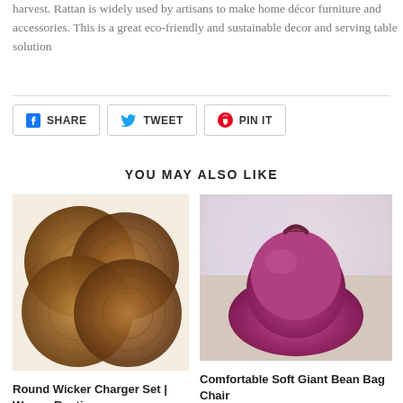harvest. Rattan is widely used by artisans to make home décor furniture and accessories. This is a great eco-friendly and sustainable decor and serving table solution
SHARE  TWEET  PIN IT
YOU MAY ALSO LIKE
[Figure (photo): Round wicker charger plates set of four, overlapping circular woven rattan placemats in brown tones]
Round Wicker Charger Set | Woven Rustic
[Figure (photo): Comfortable soft giant bean bag chair in purple/magenta color with a handle strap on top]
Comfortable Soft Giant Bean Bag Chair
$183.50